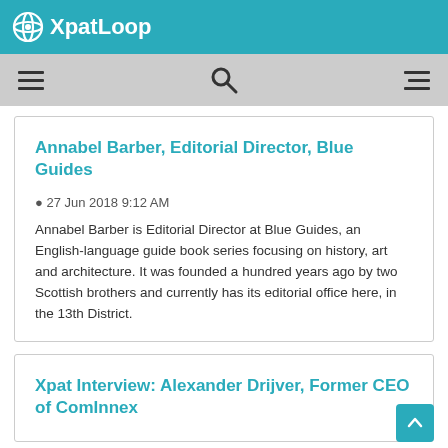XpatLoop
[Figure (screenshot): Navigation bar with hamburger menu icon, search icon, and right-aligned menu icon on gray background]
Annabel Barber, Editorial Director, Blue Guides
27 Jun 2018 9:12 AM
Annabel Barber is Editorial Director at Blue Guides, an English-language guide book series focusing on history, art and architecture. It was founded a hundred years ago by two Scottish brothers and currently has its editorial office here, in the 13th District.
Xpat Interview: Alexander Drijver, Former CEO of ComInnex